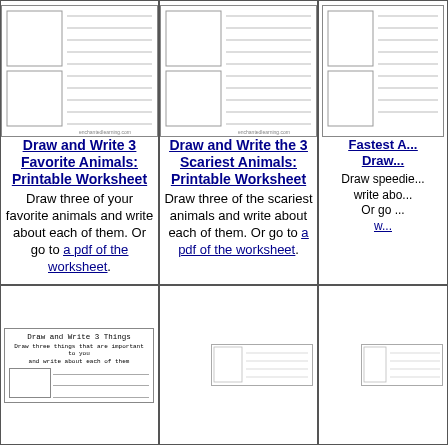[Figure (illustration): Thumbnail of Draw and Write 3 Favorite Animals worksheet with boxes and lines]
Draw and Write 3 Favorite Animals: Printable Worksheet
Draw three of your favorite animals and write about each of them. Or go to a pdf of the worksheet.
[Figure (illustration): Thumbnail of Draw and Write 3 Scariest Animals worksheet with boxes and lines]
Draw and Write the 3 Scariest Animals: Printable Worksheet
Draw three of the scariest animals and write about each of them. Or go to a pdf of the worksheet.
[Figure (illustration): Partial thumbnail of Fastest Animals Draw worksheet]
Fastest A... Draw...
Draw speedie... write abo... Or go ... w...
[Figure (illustration): Thumbnail of Draw and Write 3 Things worksheet at bottom of page]
[Figure (illustration): Partial thumbnail at bottom middle]
[Figure (illustration): Partial thumbnail at bottom right]